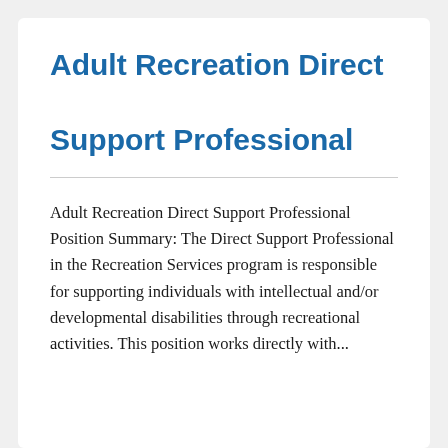Adult Recreation Direct Support Professional
Adult Recreation Direct Support Professional Position Summary: The Direct Support Professional in the Recreation Services program is responsible for supporting individuals with intellectual and/or developmental disabilities through recreational activities. This position works directly with...